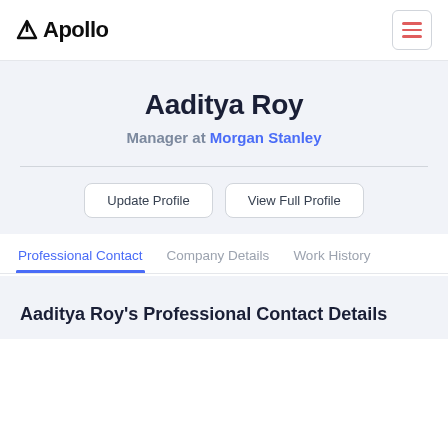Apollo
Aaditya Roy
Manager at Morgan Stanley
Update Profile | View Full Profile
Professional Contact  Company Details  Work History
Aaditya Roy's Professional Contact Details